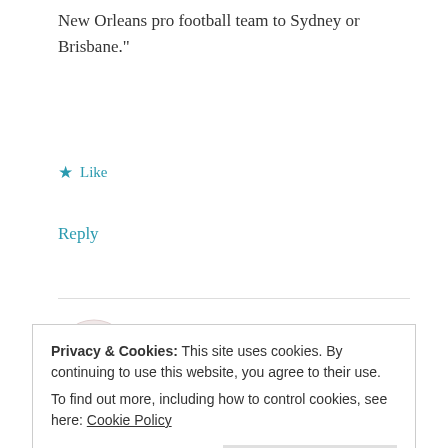New Orleans pro football team to Sydney or Brisbane."
★ Like
Reply
Erin
SEPTEMBER 5, 2007 AT 8:07 AM
“Jint” — okay, did you find that one by silently
Privacy & Cookies: This site uses cookies. By continuing to use this website, you agree to their use.
To find out more, including how to control cookies, see here: Cookie Policy
Close and accept